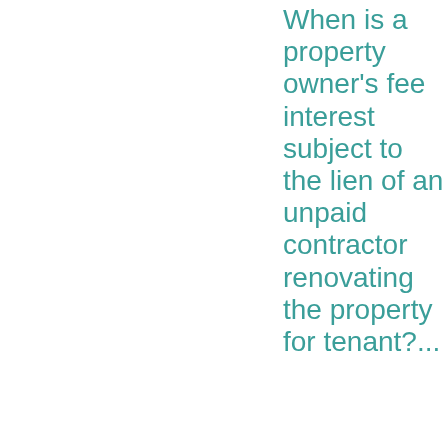When is a property owner's fee interest subject to the lien of an unpaid contractor renovating the property for tenant?...